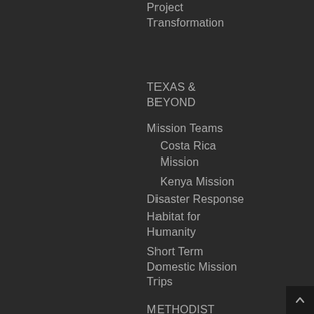Project Transformation
TEXAS & BEYOND
Mission Teams
Costa Rica Mission
Kenya Mission
Disaster Response
Habitat for Humanity
Short Term Domestic Mission Trips
METHODIST CONNECTIONAL PARTNERSHIPS